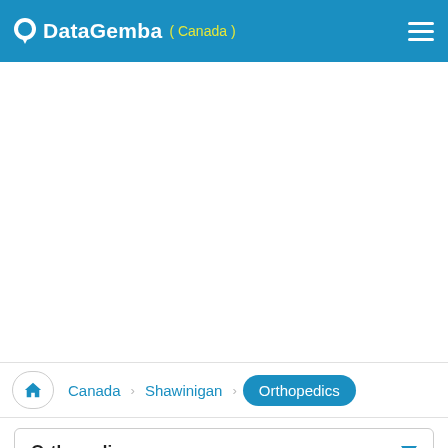DataGemba ( Canada )
Canada  Shawinigan  Orthopedics
Orthopedics